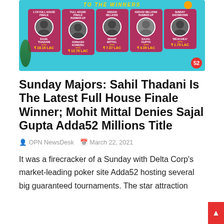[Figure (infographic): Adda52 promotional banner showing 5 Sunday Major poker tournament winners with their names and winnings: Sahil Thadani (₹18.16 LAC, 1 CR Full House Finale), Avinash Koneru (₹12.76 LAC, Full House Finale Runner-Up), Mohit Mittal (₹7.37 LAC, Adda52 Millions), Sajal Gupta (₹4.39 LAC, Adda52 Millions Runner-Up), 'Beachka' (₹1.79 LAC, Sunday Showdown). Teal background with Adda52 logo.]
Sunday Majors: Sahil Thadani Is The Latest Full House Finale Winner; Mohit Mittal Denies Sajal Gupta Adda52 Millions Title
OPN NewsDesk   March 22, 2021
It was a firecracker of a Sunday with Delta Corp's market-leading poker site Adda52 hosting several big guaranteed tournaments. The star attraction